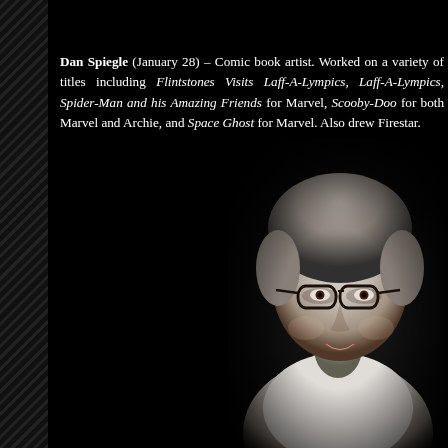Dan Spiegle (January 28) – Comic book artist. Worked on a variety of titles including Flintstones Visits Laff-A-Lympics, Laff-A-Lympics, Spider-Man and his Amazing Friends for Marvel, Scooby-Doo for both Marvel and Archie, and Space Ghost for Marvel. Also drew Firestar.
[Figure (photo): Black and white photograph of an elderly woman with short curly grey hair, wearing glasses with dark frames, smiling gently. She appears to be wearing a light-colored top. The background is dark/black.]